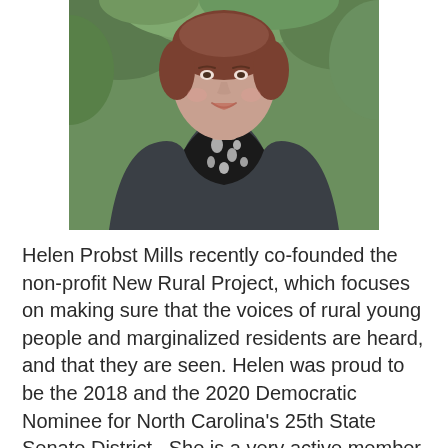[Figure (photo): Headshot photo of Helen Probst Mills, a woman with short brown hair wearing a grey blazer over a black and white floral blouse, photographed outdoors with green foliage in the background.]
Helen Probst Mills recently co-founded the non-profit New Rural Project, which focuses on making sure that the voices of rural young people and marginalized residents are heard, and that they are seen. Helen was proud to be the 2018 and the 2020 Democratic Nominee for North Carolina's 25th State Senate District.  She is a very active member